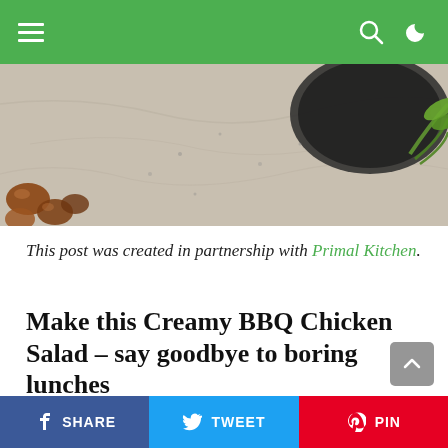Navigation bar with hamburger menu, search, and moon icons on green background
[Figure (photo): Close-up photo of food ingredients including nuts and vegetables on a marble surface with a dark pan]
This post was created in partnership with Primal Kitchen.
Make this Creamy BBQ Chicken Salad – say goodbye to boring lunches
A veggie-filled, real food diet doesn't have to be boring. In fact, on this blog, we give proof that a veggie-filled real food diet is the exact opposite. It's full of flavor, satisfying, healthy, and delicious. It's our
SHARE  TWEET  PIN